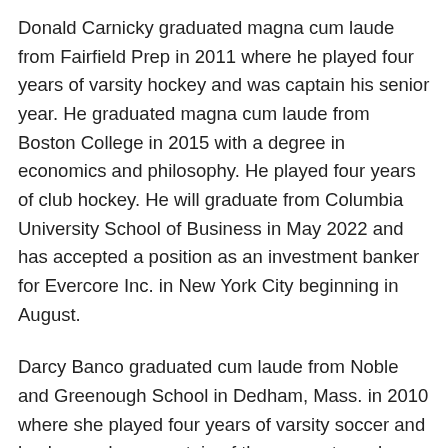Donald Carnicky graduated magna cum laude from Fairfield Prep in 2011 where he played four years of varsity hockey and was captain his senior year. He graduated magna cum laude from Boston College in 2015 with a degree in economics and philosophy. He played four years of club hockey. He will graduate from Columbia University School of Business in May 2022 and has accepted a position as an investment banker for Evercore Inc. in New York City beginning in August.
Darcy Banco graduated cum laude from Noble and Greenough School in Dedham, Mass. in 2010 where she played four years of varsity soccer and hockey and was captain of the soccer team her senior year. She graduated from Washington University in St. Louis, MO. in 2014 with a degree in anthropology. She played four years of varsity soccer and was team captain her senior year. Darcy was named University...